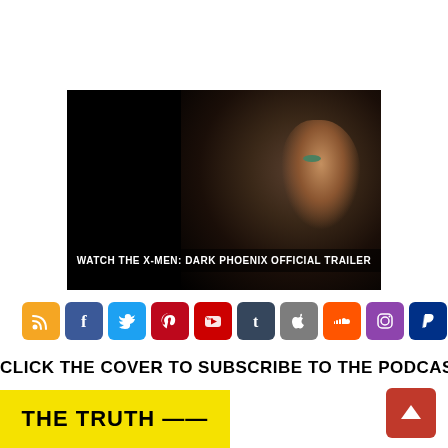[Figure (photo): Dark movie trailer thumbnail showing a close-up of a woman's face in shadow with the text 'WATCH THE X-MEN: DARK PHOENIX OFFICIAL TRAILER' overlaid at the bottom]
[Figure (infographic): Row of social media icon buttons: RSS (orange), Facebook (blue), Twitter (light blue), Pinterest (red), YouTube (red), Tumblr (dark blue-gray), Apple (gray), SoundCloud (orange), Instagram (purple), PayPal (dark blue), Play button (green)]
CLICK THE COVER TO SUBSCRIBE TO THE PODCAST!
[Figure (logo): Yellow podcast cover thumbnail showing 'THE TRUTH' in black bold text on yellow background]